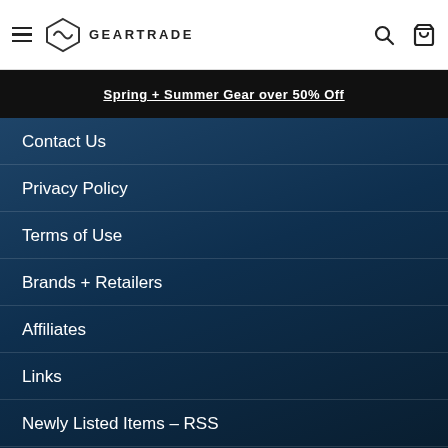GEARTRADE
Spring + Summer Gear over 50% Off
Contact Us
Privacy Policy
Terms of Use
Brands + Retailers
Affiliates
Links
Newly Listed Items – RSS
Site Map